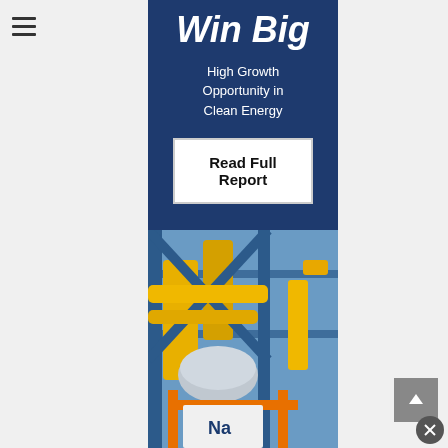[Figure (other): Hamburger menu icon (three horizontal lines) in top-left corner]
Win Big
High Growth Opportunity in Clean Energy
Read Full Report
[Figure (photo): Industrial clean energy facility showing yellow pipes, blue metal framework, and equipment including a sodium (Na) storage unit on an orange frame structure]